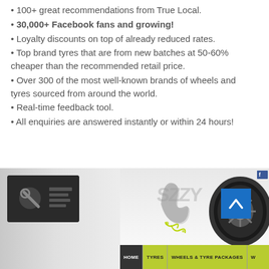100+ great recommendations from True Local.
30,000+ Facebook fans and growing!
Loyalty discounts on top of already reduced rates.
Top brand tyres that are from new batches at 50-60% cheaper than the recommended retail price.
Over 300 of the most well-known brands of wheels and tyres sourced from around the world.
Real-time feedback tool.
All enquiries are answered instantly or within 24 hours!
[Figure (screenshot): Screenshot of a tyre and wheels website showing logo with stylized graffiti text, a tyre and wheel image, a Facebook icon, a blue scroll-up button, and a navigation bar with HOME, TYRES, WHEELS & TYRE PACKAGES tabs on a yellow-green background. Small thumbnail image on the left side.]